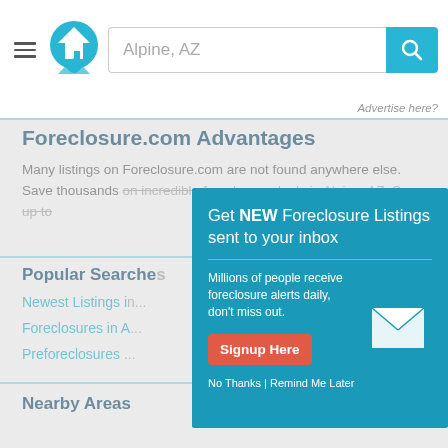[Figure (screenshot): Website header with hamburger menu, house logo, search bar showing 'Alpine, AZ', and teal search button with magnifying glass icon]
Advertise here?
Foreclosure.com Advantages
Many listings on Foreclosure.com are not found anywhere else. Save thousands on incredible foreclosure deals in Alpine, AZ. Save up to...
Popular Searches
Newest Listings in...
Foreclosures in A...
Preforeclosures...
[Figure (screenshot): Popup modal with teal background: 'Get NEW Foreclosure Listings sent to your inbox' headline, 'Millions of people receive foreclosure alerts daily, don't miss out.' subtext, red 'Signup Here' button, white envelope icon, 'No Thanks | Remind Me Later' links]
Nearby Areas